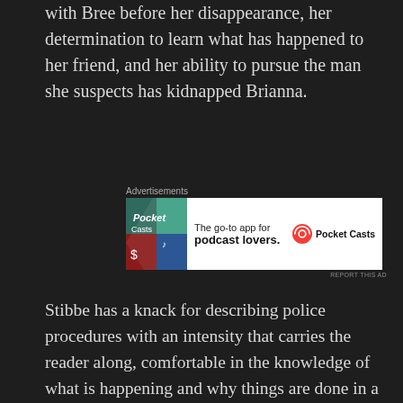with Bree before her disappearance, her determination to learn what has happened to her friend, and her ability to pursue the man she suspects has kidnapped Brianna.
[Figure (other): Advertisement banner for Pocket Casts app: 'The go-to app for podcast lovers.' with Pocket Casts logo.]
Stibbe has a knack for describing police procedures with an intensity that carries the reader along, comfortable in the knowledge of what is happening and why things are done in a particular manner. Her ability to switch between Temeke's detective vision and Jessie's teenage view provides a well-rounded picture of the events.
Perhaps the most disturbing character in the book is